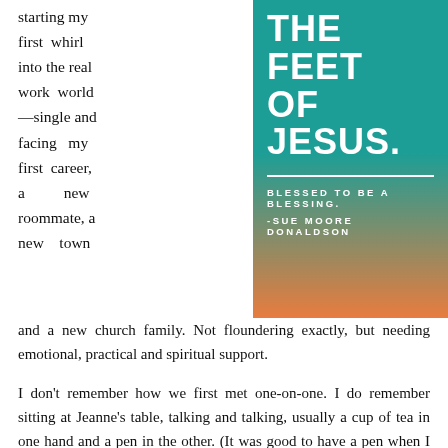starting my first whirl into the real work world—single and facing my first career, a new roommate, a new town
[Figure (other): Teal-to-orange gradient graphic block with bold white text: 'THE FEET OF JESUS.' with a horizontal rule, followed by 'BLESSED TO BE A BLESSING.' and '-SUE MOORE DONALDSON' in white uppercase letters]
and a new church family. Not floundering exactly, but needing emotional, practical and spiritual support.
I don't remember how we first met one-on-one. I do remember sitting at Jeanne's table, talking and talking, usually a cup of tea in one hand and a pen in the other. (It was good to have a pen when I spent time with Jeanne.) I also remember Jeanne's response: spoken with a smile, a gentle